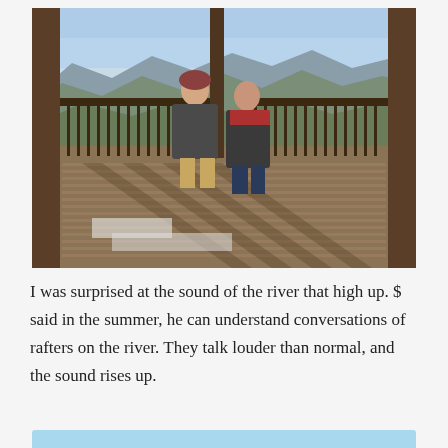[Figure (photo): Two people standing on a wooden deck/overlook with mountain ridges in the background. The man on the left wears a puffer jacket and knit cap; the woman on the right wears a red scarf and dark coat. The deck has dark wooden railing. Winter scene with bare trees and blue sky.]
I was surprised at the sound of the river that high up. $ said in the summer, he can understand conversations of rafters on the river. They talk louder than normal, and the sound rises up.